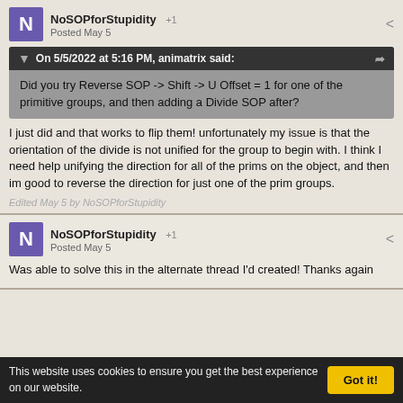NoSOPforStupidity +1 Posted May 5
On 5/5/2022 at 5:16 PM, animatrix said:
Did you try Reverse SOP -> Shift -> U Offset = 1 for one of the primitive groups, and then adding a Divide SOP after?
I just did and that works to flip them! unfortunately my issue is that the orientation of the divide is not unified for the group to begin with. I think I need help unifying the direction for all of the prims on the object, and then im good to reverse the direction for just one of the prim groups.
Edited May 5 by NoSOPforStupidity
NoSOPforStupidity +1 Posted May 5
Was able to solve this in the alternate thread I'd created! Thanks again
This website uses cookies to ensure you get the best experience on our website. Got it!